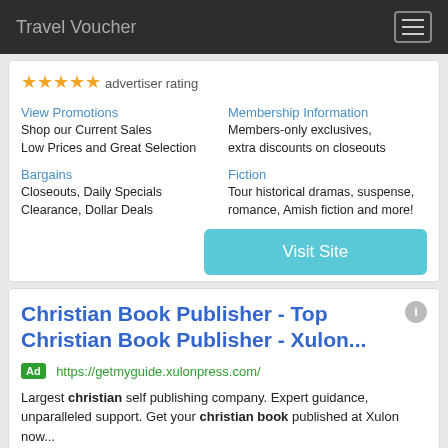Travel Voucher
[Figure (screenshot): Ad card 1 with star rating, View Promotions, Membership Information, Bargains, Fiction links and Visit Site button]
[Figure (screenshot): Ad card 2 for Christian Book Publisher - Top Christian Book Publisher - Xulon... with Ad badge, URL, body text, sub-links, and Visit Site button]